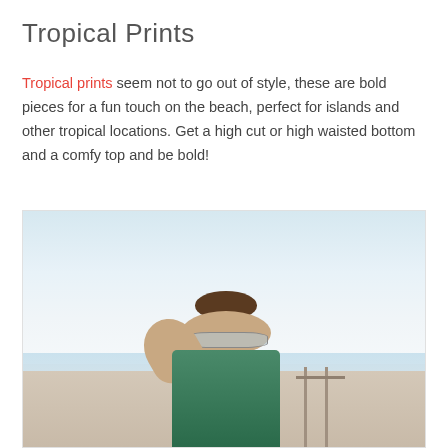Tropical Prints
Tropical prints seem not to go out of style, these are bold pieces for a fun touch on the beach, perfect for islands and other tropical locations. Get a high cut or high waisted bottom and a comfy top and be bold!
[Figure (photo): Woman with hair in a bun wearing sunglasses and a tropical print swimsuit, standing outdoors at a beach or pier location with a light blue sky in the background.]